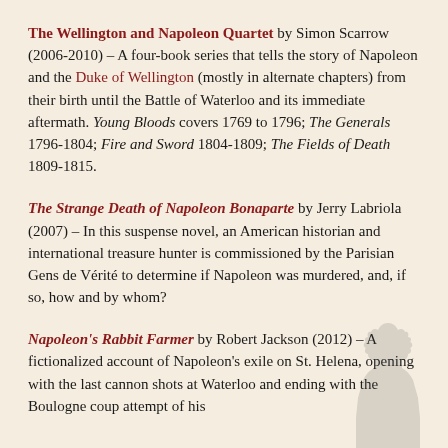The Wellington and Napoleon Quartet by Simon Scarrow (2006-2010) – A four-book series that tells the story of Napoleon and the Duke of Wellington (mostly in alternate chapters) from their birth until the Battle of Waterloo and its immediate aftermath. Young Bloods covers 1769 to 1796; The Generals 1796-1804; Fire and Sword 1804-1809; The Fields of Death 1809-1815.
The Strange Death of Napoleon Bonaparte by Jerry Labriola (2007) – In this suspense novel, an American historian and international treasure hunter is commissioned by the Parisian Gens de Vérité to determine if Napoleon was murdered, and, if so, how and by whom?
Napoleon's Rabbit Farmer by Robert Jackson (2012) – A fictionalized account of Napoleon's exile on St. Helena, opening with the last cannon shots at Waterloo and ending with the Boulogne coup attempt of his nephew, the future Napoleon III.